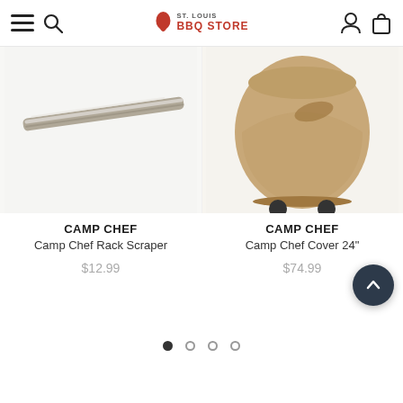St. Louis BBQ Store
[Figure (photo): Close-up of a metal rack scraper tool on white background]
[Figure (photo): Tan/khaki grill cover with Camp Chef branding on white background]
CAMP CHEF
Camp Chef Rack Scraper
$12.99
CAMP CHEF
Camp Chef Cover 24"
$74.99